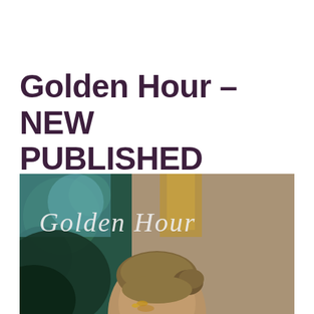Golden Hour – NEW PUBLISHED EDITORIAL
[Figure (photo): Editorial fashion photo with a woman's face partially visible, blonde hair in an updo with golden accessories, photographed against a warm beige/tan textured wall and a blurred teal/green background. White script text overlay reads 'Golden Hour' in cursive handwriting style.]